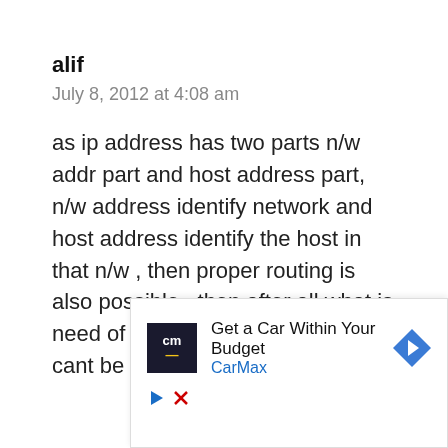alif
July 8, 2012 at 4:08 am
as ip address has two parts n/w addr part and host address part, n/w address identify network and host address identify the host in that n/w , then proper routing is also possible , then after all what is need of mac address? plz answer i cant be keep confusion for more
[Figure (infographic): CarMax advertisement: 'Get a Car Within Your Budget' with CarMax logo and directional arrow icon]